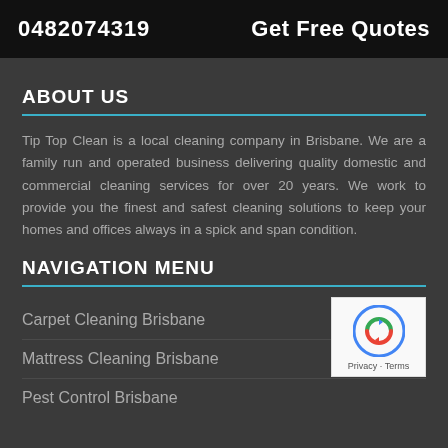0482074319   Get Free Quotes
ABOUT US
Tip Top Clean is a local cleaning company in Brisbane. We are a family run and operated business delivering quality domestic and commercial cleaning services for over 20 years. We work to provide you the finest and safest cleaning solutions to keep your homes and offices always in a spick and span condition.
NAVIGATION MENU
Carpet Cleaning Brisbane
Mattress Cleaning Brisbane
Pest Control Brisbane